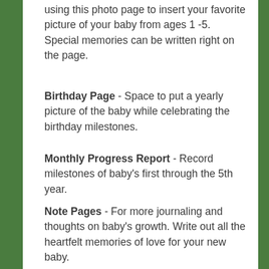using this photo page to insert your favorite picture of your baby from ages 1 -5. Special memories can be written right on the page.
Birthday Page - Space to put a yearly picture of the baby while celebrating the birthday milestones.
Monthly Progress Report - Record milestones of baby's first through the 5th year.
Note Pages - For more journaling and thoughts on baby's growth. Write out all the heartfelt memories of love for your new baby.
Say Cheese - baby's tooth page, so to keep track of when the teething begins..